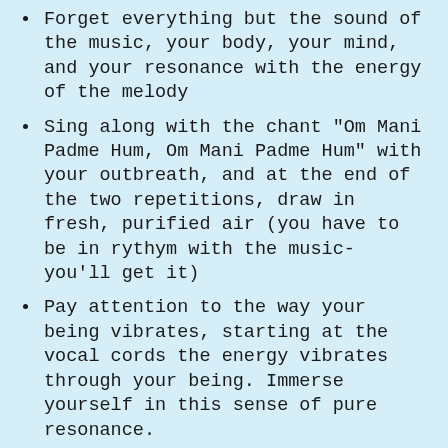Forget everything but the sound of the music, your body, your mind, and your resonance with the energy of the melody
Sing along with the chant "Om Mani Padme Hum, Om Mani Padme Hum" with your outbreath, and at the end of the two repetitions, draw in fresh, purified air (you have to be in rythym with the music- you'll get it)
Pay attention to the way your being vibrates, starting at the vocal cords the energy vibrates through your being. Immerse yourself in this sense of pure resonance.
Smile and enjoy the simple experience of singing along and buzzing to the energy of the chant.
In between the chanting sections,